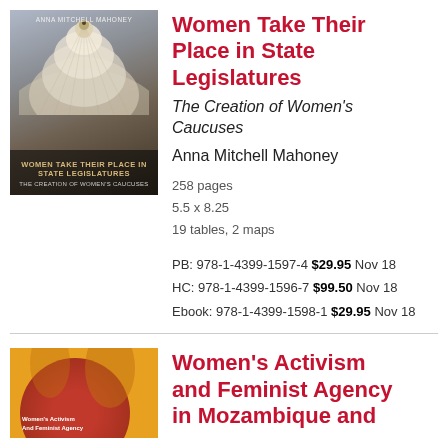[Figure (photo): Book cover for 'Women Take Their Place in State Legislatures: The Creation of Women's Caucuses' by Anna Mitchell Mahoney, showing a dome interior photograph]
Women Take Their Place in State Legislatures
The Creation of Women's Caucuses
Anna Mitchell Mahoney
258 pages
5.5 x 8.25
19 tables, 2 maps
PB: 978-1-4399-1597-4 $29.95 Nov 18
HC: 978-1-4399-1596-7 $99.50 Nov 18
Ebook: 978-1-4399-1598-1 $29.95 Nov 18
[Figure (photo): Book cover for 'Women's Activism and Feminist Agency in Mozambique and' showing a yellow background with red/orange circular design]